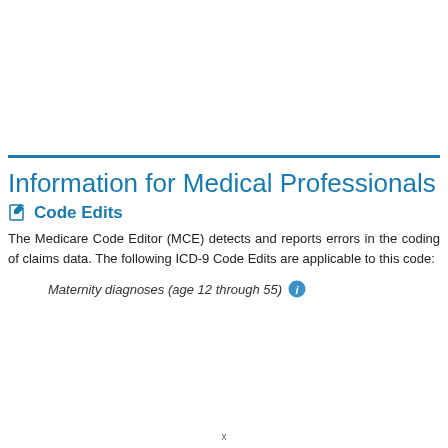Information for Medical Professionals
Code Edits
The Medicare Code Editor (MCE) detects and reports errors in the coding of claims data. The following ICD-9 Code Edits are applicable to this code:
Maternity diagnoses (age 12 through 55)